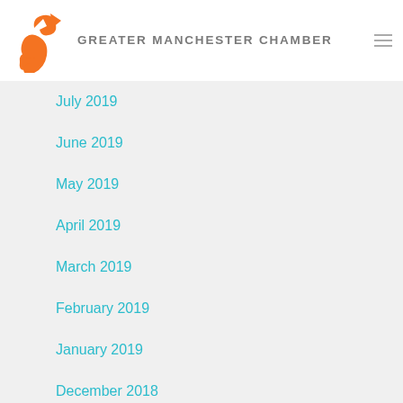GREATER MANCHESTER CHAMBER
July 2019
June 2019
May 2019
April 2019
March 2019
February 2019
January 2019
December 2018
October 2018
September 2018